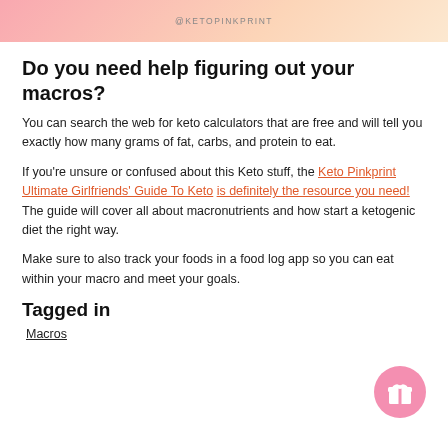@KETOPINKPRINT
Do you need help figuring out your macros?
You can search the web for keto calculators that are free and will tell you exactly how many grams of fat, carbs, and protein to eat.
If you're unsure or confused about this Keto stuff, the Keto Pinkprint Ultimate Girlfriends' Guide To Keto is definitely the resource you need! The guide will cover all about macronutrients and how start a ketogenic diet the right way.
Make sure to also track your foods in a food log app so you can eat within your macro and meet your goals.
Tagged in
Macros